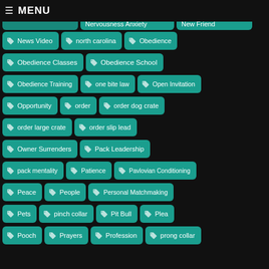MENU
News Video
north carolina
Obedience
Obedience Classes
Obedience School
Obedience Training
one bite law
Open Invitation
Opportunity
order
order dog crate
order large crate
order slip lead
Owner Surrenders
Pack Leadership
pack mentality
Patience
Pavlovian Conditioning
Peace
People
Personal Matchmaking
Pets
pinch collar
Pit Bull
Plea
Pooch
Prayers
Profession
prong collar